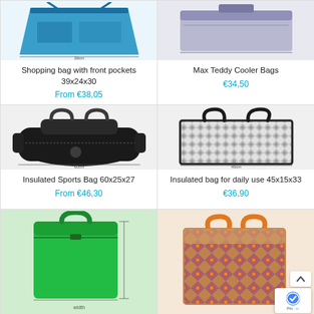[Figure (photo): Shopping bag with front pockets, blue, with dimension arrows]
Shopping bag with front pockets 39x24x30
From €38,05
[Figure (photo): Max Teddy Cooler Bags, light purple/grey, rectangular]
Max Teddy Cooler Bags
€34,50
[Figure (photo): Insulated Sports Bag, black duffel bag with Max Teddy branding and dimension arrows]
Insulated Sports Bag 60x25x27
From €46,30
[Figure (photo): Insulated bag for daily use, tote style with geometric black and white pattern]
Insulated bag for daily use 45x15x33
€36,90
[Figure (photo): Green rigid cooler bag with handle and zipper, with dimension arrows]
[Figure (photo): Colorful geometric patterned tote bag with orange handles]